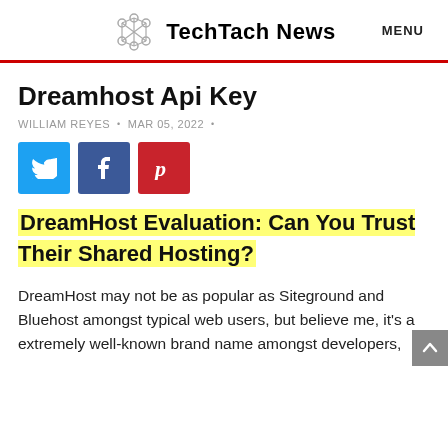TechTach News   MENU
Dreamhost Api Key
WILLIAM REYES • MAR 05, 2022 •
[Figure (infographic): Social sharing buttons: Twitter (blue), Facebook (dark blue), Pinterest (red)]
DreamHost Evaluation: Can You Trust Their Shared Hosting?
DreamHost may not be as popular as Siteground and Bluehost amongst typical web users, but believe me, it's a extremely well-known brand name amongst developers,